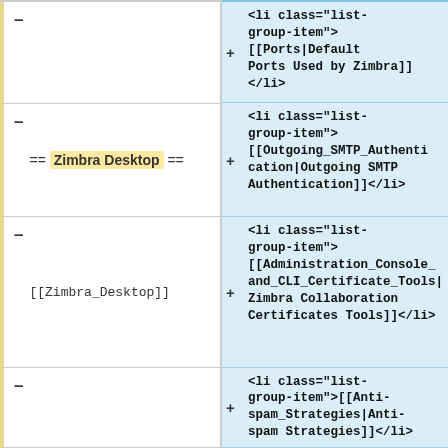<li class="list-group-item">[[Ports|Default Ports Used by Zimbra]]</li>
== Zimbra Desktop ==
<li class="list-group-item">
+[[Outgoing_SMTP_Authentication|Outgoing SMTP Authentication]]</li>
[[Zimbra_Desktop]]
<li class="list-group-item">
[[Administration_Console_and_CLI_Certificate_Tools|Zimbra Collaboration Certificates Tools]]</li>
<li class="list-group-item">[[Anti-spam_Strategies|Anti-spam Strategies]]</li>